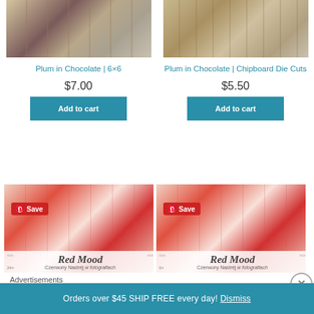[Figure (photo): Product photo of Plum in Chocolate 6x6 paper pack with purple floral design]
[Figure (photo): Product photo of Plum in Chocolate Chipboard Die Cuts with floral design]
Plum in Chocolate | 6×6
$7.00
Add to cart
Plum in Chocolate | Chipboard Die Cuts
$5.50
Add to cart
[Figure (photo): Red Mood / Czerwony Nastrej paper pack product image with red textured papers and Pinterest Save badge]
[Figure (photo): Red Mood / Czerwony Nastrej paper pack product image with red textured papers and Pinterest Save badge]
Advertisements
Orders over $45 SHIP FREE every day! Dismiss